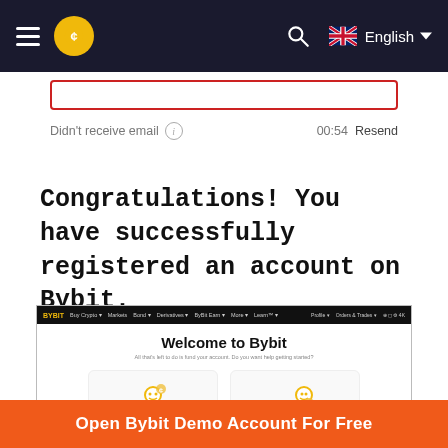Bybit navigation bar with hamburger menu, logo, search icon, English language selector
Didn't receive email (i)   00:54  Resend
Congratulations! You have successfully registered an account on Bybit.
[Figure (screenshot): Screenshot of Bybit website Welcome page showing 'Welcome to Bybit' heading with two options: 'I'm New' and 'I'm Experienced', each with an illustration and a yellow button.]
Open Bybit Demo Account For Free